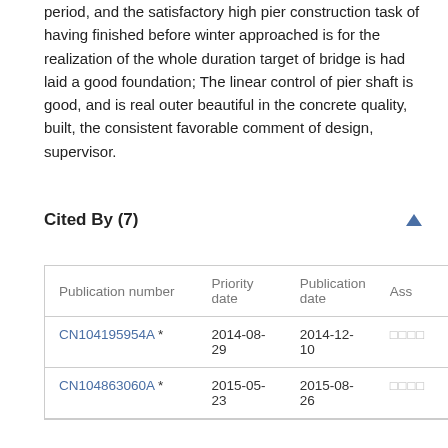period, and the satisfactory high pier construction task of having finished before winter approached is for the realization of the whole duration target of bridge is had laid a good foundation; The linear control of pier shaft is good, and is real outer beautiful in the concrete quality, built, the consistent favorable comment of design, supervisor.
Cited By (7)
| Publication number | Priority date | Publication date | Ass |
| --- | --- | --- | --- |
| CN104195954A * | 2014-08-29 | 2014-12-10 | □□□□ |
| CN104863060A * | 2015-05-23 | 2015-08-26 | □□□□ |